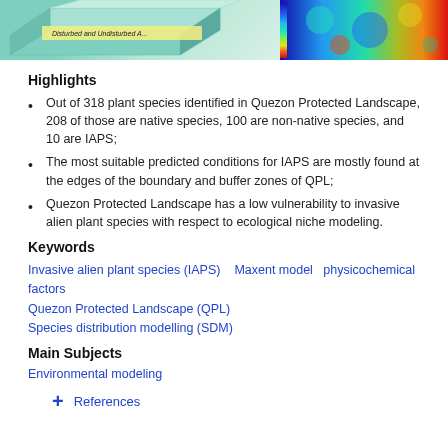[Figure (illustration): Two images at top: left shows a 3D illustrated diagram with label 'Disturbed and Undisturbed...' on a teal/green layered surface; right shows a thermal/satellite color map image.]
Highlights
Out of 318 plant species identified in Quezon Protected Landscape, 208 of those are native species, 100 are non-native species, and 10 are IAPS;
The most suitable predicted conditions for IAPS are mostly found at the edges of the boundary and buffer zones of QPL;
Quezon Protected Landscape has a low vulnerability to invasive alien plant species with respect to ecological niche modeling.
Keywords
Invasive alien plant species (IAPS)    Maxent model    physicochemical factors
Quezon Protected Landscape (QPL)
Species distribution modelling (SDM)
Main Subjects
Environmental modeling
+ References